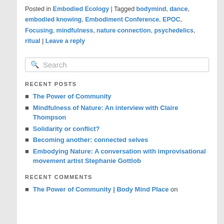Posted in Embodied Ecology | Tagged bodymind, dance, embodied knowing, Embodiment Conference, EPOC, Focusing, mindfulness, nature connection, psychedelics, ritual | Leave a reply
RECENT POSTS
The Power of Community
Mindfulness of Nature: An interview with Claire Thompson
Solidarity or conflict?
Becoming another: connected selves
Embodying Nature: A conversation with improvisational movement artist Stephanie Gottlob
RECENT COMMENTS
The Power of Community | Body Mind Place on